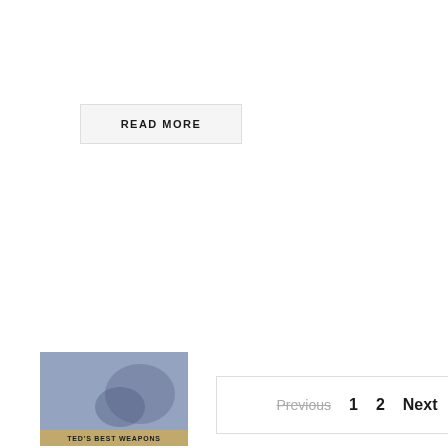READ MORE
Previous  1  2  Next
FILM ROOM
[Figure (photo): Film room thumbnail showing CHIEFS FILM ROOM text overlay with football players in background and a banner reading TED'S BEST WEAPONS at the bottom]